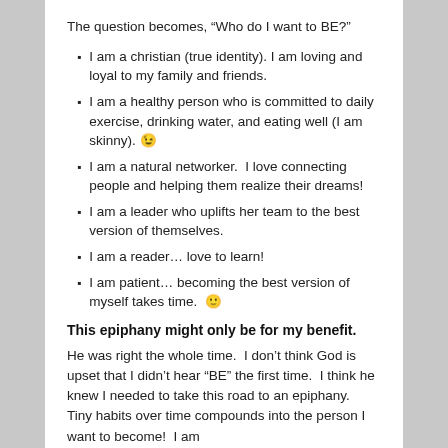The question becomes, “Who do I want to BE?”
I am a christian (true identity). I am loving and loyal to my family and friends.
I am a healthy person who is committed to daily exercise, drinking water, and eating well (I am skinny). 😉
I am a natural networker.  I love connecting people and helping them realize their dreams!
I am a leader who uplifts her team to the best version of themselves.
I am a reader… love to learn!
I am patient… becoming the best version of myself takes time.  🙂
This epiphany might only be for my benefit.
He was right the whole time.  I don’t think God is upset that I didn’t hear “BE” the first time.  I think he knew I needed to take this road to an epiphany.  Tiny habits over time compounds into the person I want to become!  I am